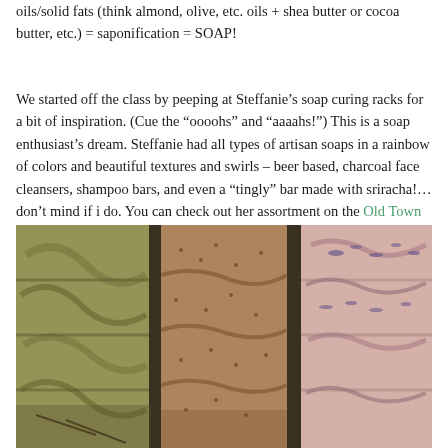oils/solid fats (think almond, olive, etc. oils + shea butter or cocoa butter, etc.) = saponification = SOAP!
We started off the class by peeping at Steffanie’s soap curing racks for a bit of inspiration. (Cue the “oooohs” and “aaaahs!”) This is a soap enthusiast’s dream. Steffanie had all types of artisan soaps in a rainbow of colors and beautiful textures and swirls – beer based, charcoal face cleansers, shampoo bars, and even a “tingly” bar made with sriracha!…don’t mind if i do. You can check out her assortment on the Old Town Suds online shop.
[Figure (photo): Photo of artisan soap bars on curing racks: green swirled bars on left, speckled brown bars in the middle, and pink/white marbled bars with floral decoration on the right.]